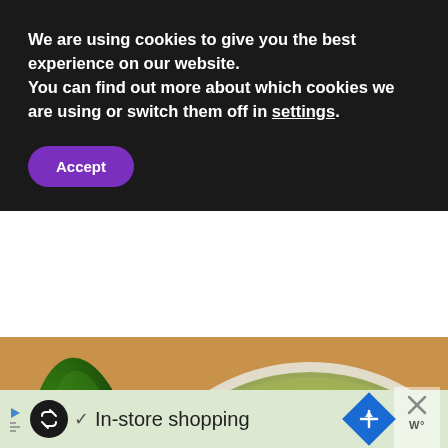We are using cookies to give you the best experience on our website.
You can find out more about which cookies we are using or switch them off in settings.
Accept
[Figure (photo): Top-down view of pickled jalapeño slices in a glass jar, with a whole green jalapeño pepper on a wooden surface beside it. Social sharing UI elements overlay the image including a heart button, share button, count badge showing 14, and a 'What's Next' preview card.]
WHAT'S NEXT → An Unpaid Review of...
✓ In-store shopping